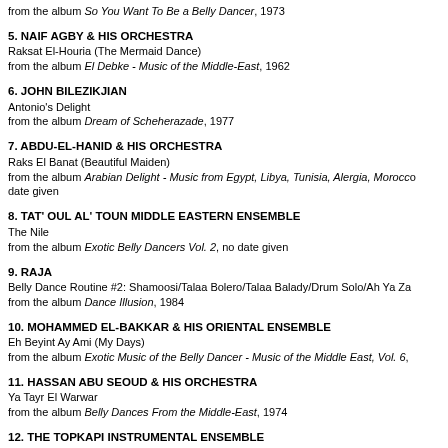from the album So You Want To Be a Belly Dancer, 1973
5. NAIF AGBY & HIS ORCHESTRA
Raksat El-Houria (The Mermaid Dance)
from the album El Debke - Music of the Middle-East, 1962
6. JOHN BILEZIKJIAN
Antonio's Delight
from the album Dream of Scheherazade, 1977
7. ABDU-EL-HANID & HIS ORCHESTRA
Raks El Banat (Beautiful Maiden)
from the album Arabian Delight - Music from Egypt, Libya, Tunisia, Alergia, Morocco date given
8. TAT' OUL AL' TOUN MIDDLE EASTERN ENSEMBLE
The Nile
from the album Exotic Belly Dancers Vol. 2, no date given
9. RAJA
Belly Dance Routine #2: Shamoosi/Talaa Bolero/Talaa Balady/Drum Solo/Ah Ya Za
from the album Dance Illusion, 1984
10. MOHAMMED EL-BAKKAR & HIS ORIENTAL ENSEMBLE
Eh Beyint Ay Ami (My Days)
from the album Exotic Music of the Belly Dancer - Music of the Middle East, Vol. 6,
11. HASSAN ABU SEOUD & HIS ORCHESTRA
Ya Tayr El Warwar
from the album Belly Dances From the Middle-East, 1974
12. THE TOPKAPI INSTRUMENTAL ENSEMBLE
Memberi
from the album Picture Yourself Belly Dancing, 1977
13. SONNY LESTER - HIS ORCHESTRA & CHORUS
Salome's Veil
from the album Little Egypt Presents: How to Belly Dance For Your Husband, 1968